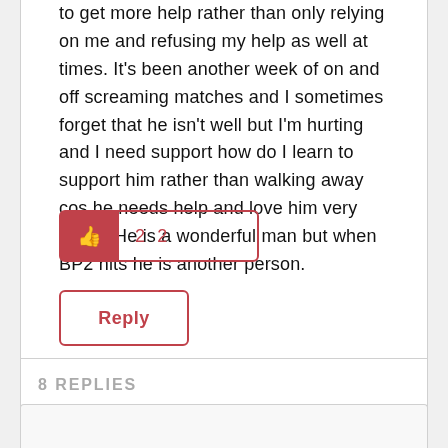to get more help rather than only relying on me and refusing my help as well at times. It's been another week of on and off screaming matches and I sometimes forget that he isn't well but I'm hurting and I need support how do I learn to support him rather than walking away cos he needs help and love him very much. He is a wonderful man but when BP2 hits he is another person.
[Figure (other): Like button with thumbs up icon and count of 22]
Reply
8 REPLIES